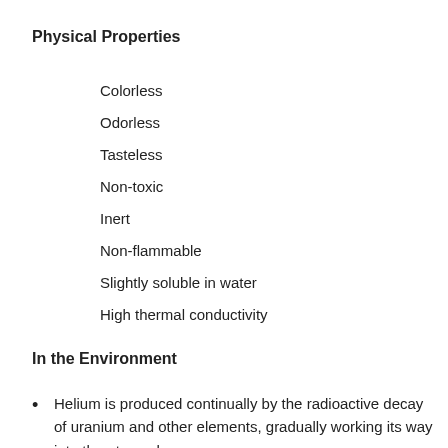Physical Properties
Colorless
Odorless
Tasteless
Non-toxic
Inert
Non-flammable
Slightly soluble in water
High thermal conductivity
In the Environment
Helium is produced continually by the radioactive decay of uranium and other elements, gradually working its way into the atmosphere.
Helium atoms are light enough to escape the Earth’s…